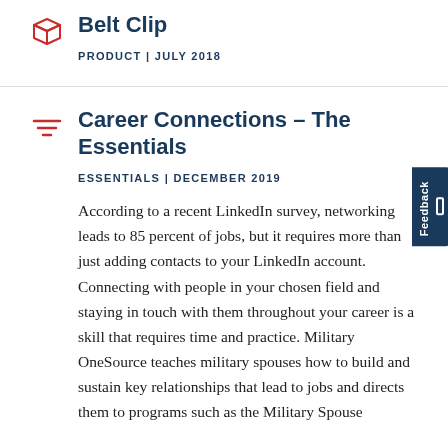[Figure (illustration): Red 3D box/cube icon]
Belt Clip
PRODUCT | JULY 2018
[Figure (illustration): Red filter/lines icon (three horizontal lines decreasing in width)]
Career Connections – The Essentials
ESSENTIALS | DECEMBER 2019
According to a recent LinkedIn survey, networking leads to 85 percent of jobs, but it requires more than just adding contacts to your LinkedIn account. Connecting with people in your chosen field and staying in touch with them throughout your career is a skill that requires time and practice. Military OneSource teaches military spouses how to build and sustain key relationships that lead to jobs and directs them to programs such as the Military Spouse